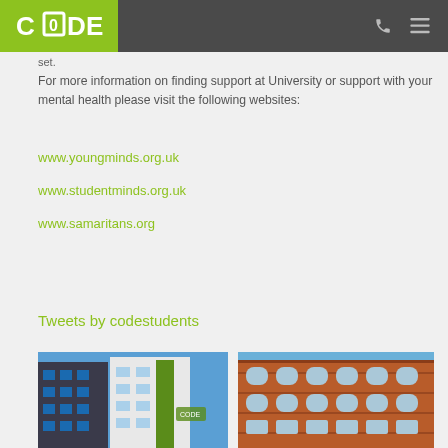CODE (logo) — navigation header with phone and menu icons
set.
For more information on finding support at University or support with your mental health please visit the following websites:
www.youngminds.org.uk
www.studentminds.org.uk
www.samaritans.org
Tweets by codestudents
[Figure (photo): Modern student accommodation building with blue/white facade and green foliage panels, viewed from below against blue sky]
[Figure (photo): Historic brick building with arched windows, red-brown brick facade, viewed against blue sky]